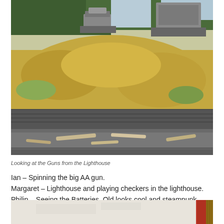[Figure (photo): Looking at military gun installations on a grassy hillside with rock retaining wall and beach with driftwood in the foreground, viewed from the lighthouse.]
Looking at the Guns from the Lighthouse
Ian – Spinning the big AA gun.
Margaret – Lighthouse and playing checkers in the lighthouse.
Philip – Seeing the Batteries. Old looks cool and steampunk.
[Figure (photo): Partial view of a white surface with red element visible at right edge.]